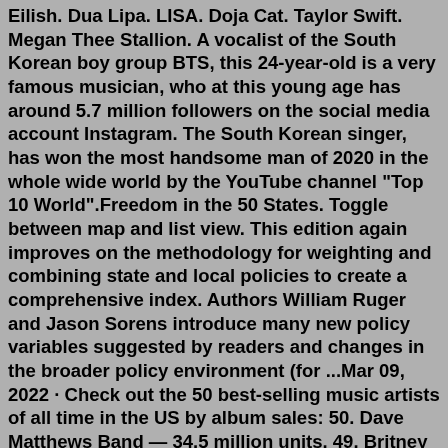Eilish. Dua Lipa. LISA. Doja Cat. Taylor Swift. Megan Thee Stallion. A vocalist of the South Korean boy group BTS, this 24-year-old is a very famous musician, who at this young age has around 5.7 million followers on the social media account Instagram. The South Korean singer, has won the most handsome man of 2020 in the whole wide world by the YouTube channel "Top 10 World".Freedom in the 50 States. Toggle between map and list view. This edition again improves on the methodology for weighting and combining state and local policies to create a comprehensive index. Authors William Ruger and Jason Sorens introduce many new policy variables suggested by readers and changes in the broader policy environment (for ...Mar 09, 2022 · Check out the 50 best-selling music artists of all time in the US by album sales: 50. Dave Matthews Band — 34.5 million units. 49. Britney Spears — 34.5 million units. 48. Bon Jovi — 34.5 ... It has the world's 3rd largest economy by nominal GDP and the 4th largest economy by purchasing power parity (PPP). Ranked